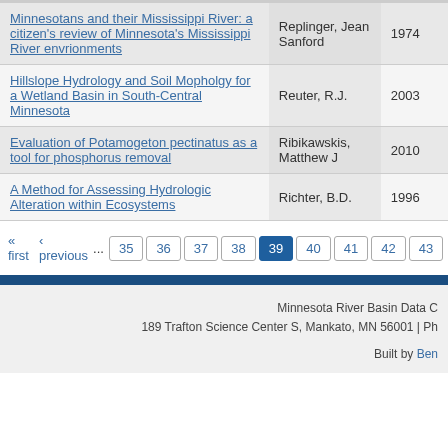| Title | Author | Year |
| --- | --- | --- |
| Minnesotans and their Mississippi River: a citizen's review of Minnesota's Mississippi River envrionments | Replinger, Jean Sanford | 1974 |
| Hillslope Hydrology and Soil Mopholgy for a Wetland Basin in South-Central Minnesota | Reuter, R.J. | 2003 |
| Evaluation of Potamogeton pectinatus as a tool for phosphorus removal | Ribikawskis, Matthew J | 2010 |
| A Method for Assessing Hydrologic Alteration within Ecosystems | Richter, B.D. | 1996 |
« first  ‹ previous  ...  35  36  37  38  39  40  41  42  43  ...
Minnesota River Basin Data C  189 Trafton Science Center S, Mankato, MN 56001 | Ph  Built by Ben